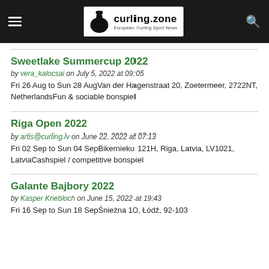curling.zone — European Curling Sport News
Sweetlake Summercup 2022
by vera_kalocsai on July 5, 2022 at 09:05
Fri 26 Aug to Sun 28 AugVan der Hagenstraat 20, Zoetermeer, 2722NT, NetherlandsFun & sociable bonspiel
Riga Open 2022
by artis@curling.lv on June 22, 2022 at 07:13
Fri 02 Sep to Sun 04 SepBikernieku 121H, Riga, Latvia, LV1021, LatviaCashspiel / competitive bonspiel
Galante Bajbory 2022
by Kasper Knebloch on June 15, 2022 at 19:43
Fri 16 Sep to Sun 18 SepŚnieżna 10, Łódź, 92-103